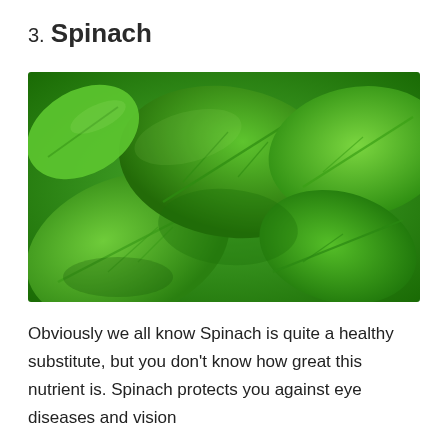3. Spinach
[Figure (photo): Close-up photo of fresh green spinach leaves piled together]
Obviously we all know Spinach is quite a healthy substitute, but you don't know how great this nutrient is. Spinach protects you against eye diseases and vision loss. It's a perfect food, before the sits next to...